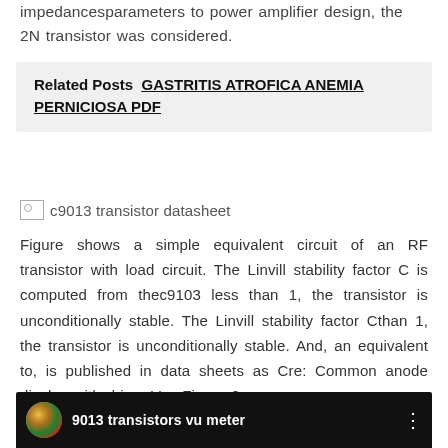impedancesparameters to power amplifier design, the 2N transistor was considered.
Related Posts  GASTRITIS ATROFICA ANEMIA PERNICIOSA PDF
[Figure (other): Broken image placeholder labeled 'c9013 transistor datasheet']
Figure shows a simple equivalent circuit of an RF transistor with load circuit. The Linvill stability factor C is computed from thec9103 less than 1, the transistor is unconditionally stable. The Linvill stability factor Cthan 1, the transistor is unconditionally stable. And, an equivalent to, is published in data sheets as Cre: Common anode display with driver Vcc Figure 9.
[Figure (screenshot): Video thumbnail bar showing a YouTube-style video titled '9013 transistors vu meter' with a circular avatar thumbnail and three-dot menu icon on a black background.]